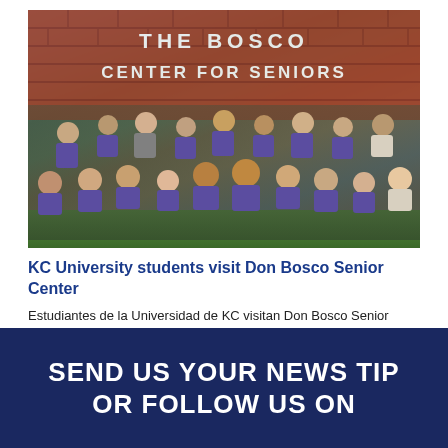[Figure (photo): Group of KC University students in purple shirts posing in front of The Bosco Center for Seniors brick sign, crouching on grass]
KC University students visit Don Bosco Senior Center
Estudiantes de la Universidad de KC visitan Don Bosco Senior Center Una tradición que se ha celebrado durante los últimos 25 años continuó el mes
SEND US YOUR NEWS TIP or FOLLOW US ON